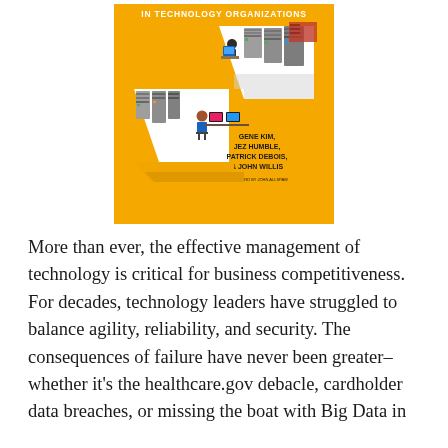[Figure (illustration): Book cover with yellow/orange background showing an isometric illustration of technology/server rooms with workers at computers. Title text at top reads 'IN TECHNOLOGY ORGANIZATIONS'. Authors listed as GENE KIM, JEZ HUMBLE, PATRICK DEBOIS, & JOHN WILLIS. Foreword by JOHN ALLSPAW.]
More than ever, the effective management of technology is critical for business competitiveness. For decades, technology leaders have struggled to balance agility, reliability, and security. The consequences of failure have never been greater–whether it's the healthcare.gov debacle, cardholder data breaches, or missing the boat with Big Data in